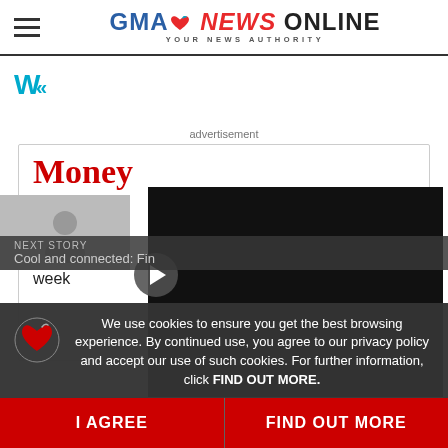GMA NEWS ONLINE - YOUR NEWS AUTHORITY
[Figure (logo): GMA News Online logo with heart icon and tagline YOUR NEWS AUTHORITY]
[Figure (logo): Weather widget icon (Weatherbug or similar) - blue W double chevron icon]
advertisement
Money
Di... over more week
[Figure (screenshot): Black video player overlay on right side of screen]
We use cookies to ensure you get the best browsing experience. By continued use, you agree to our privacy policy and accept our use of such cookies. For further information, click FIND OUT MORE.
Next Story
Cool and connected: Fin
I AGREE
FIND OUT MORE